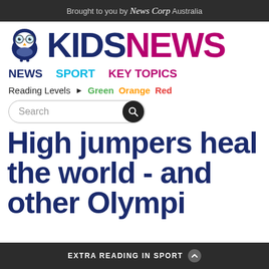Brought to you by News Corp Australia
[Figure (logo): KidsNews logo with owl mascot wearing glasses. KIDS in dark navy blue, NEWS in magenta/pink, with a cartoon owl icon on the left.]
NEWS   SPORT   KEY TOPICS
Reading Levels ▶ Green  Orange  Red
Search
High jumpers heal the world - and other Olympic highlights